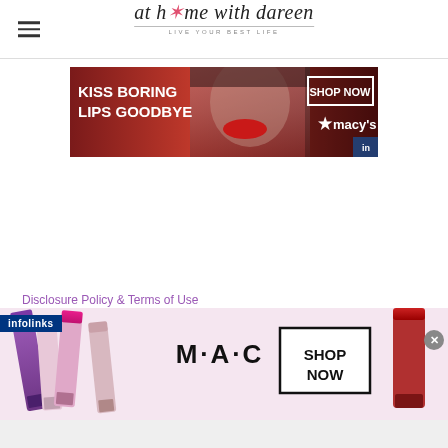at home with dareen — LIVE YOUR BEST LIFE
[Figure (illustration): Macy's advertisement banner: 'KISS BORING LIPS GOODBYE' with woman's face wearing red lipstick, SHOP NOW button and Macy's star logo on red background]
Disclosure Policy & Terms of Use
Statement
[Figure (illustration): M·A·C cosmetics advertisement banner showing colorful lipsticks on left, M·A·C logo in center, SHOP NOW box on right, and red lipstick on far right, with infolinks overlay bar and close button]